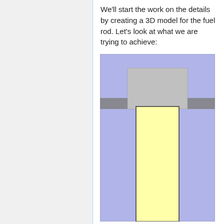We'll start the work on the details by creating a 3D model for the fuel rod. Let's look at what we are trying to achieve:
[Figure (engineering-diagram): Cross-sectional engineering diagram of a fuel rod assembly showing a purple/blue outer casing, a gray upper section (cap), a gray horizontal band in the middle, and a tall yellow inner rod extending downward. The diagram is cut off at the bottom.]